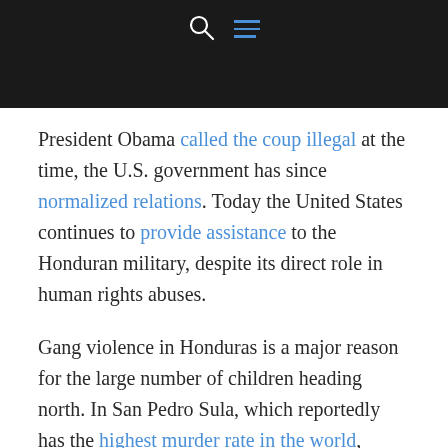[Navigation bar with search and menu icons]
President Obama called the coup illegal at the time, the U.S. government has since normalized relations. Today the United States continues to provide assistance to the Honduran military, despite its direct role in human rights abuses.
Gang violence in Honduras is a major reason for the large number of children heading north. In San Pedro Sula, which reportedly has the highest murder rate in the world, gangs are essentially running the city. The only way to survive is to see, hear, and say very little—and to pay the taxes